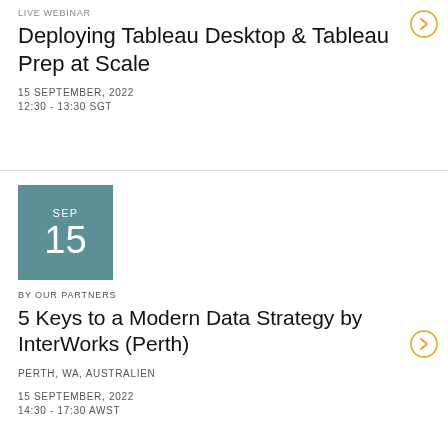LIVE WEBINAR
Deploying Tableau Desktop & Tableau Prep at Scale
15 SEPTEMBER, 2022
12:30 - 13:30 SGT
[Figure (other): Date tile showing SEP 15 in teal/blue color]
BY OUR PARTNERS
5 Keys to a Modern Data Strategy by InterWorks (Perth)
PERTH, WA, AUSTRALIEN
15 SEPTEMBER, 2022
14:30 - 17:30 AWST